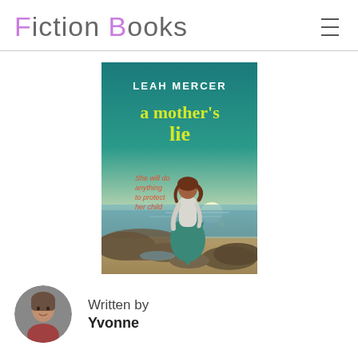Fiction Books
[Figure (illustration): Book cover of 'a mother's lie' by Leah Mercer. Teal/sunset background with a woman in a teal skirt standing by the sea on rocks. Text: LEAH MERCER, a mother's lie, She will do anything to protect her child.]
Written by
Yvonne